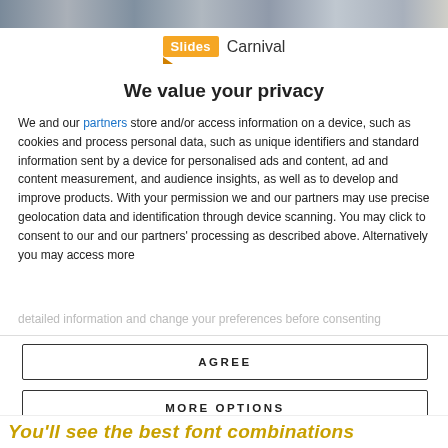[Figure (screenshot): Top strip showing website thumbnails/screenshots in a blurred strip]
[Figure (logo): SlidesCarnival logo with orange 'Slides' badge and 'Carnival' text]
We value your privacy
We and our partners store and/or access information on a device, such as cookies and process personal data, such as unique identifiers and standard information sent by a device for personalised ads and content, ad and content measurement, and audience insights, as well as to develop and improve products. With your permission we and our partners may use precise geolocation data and identification through device scanning. You may click to consent to our and our partners' processing as described above. Alternatively you may access more
detailed information and change your preferences before consenting
AGREE
MORE OPTIONS
You'll see the best font combinations